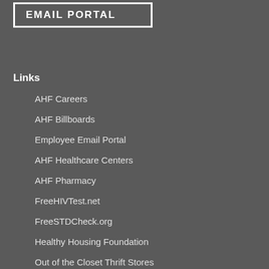EMAIL PORTAL
Links
AHF Careers
AHF Billboards
Employee Email Portal
AHF Healthcare Centers
AHF Pharmacy
FreeHIVTest.net
FreeSTDCheck.org
Healthy Housing Foundation
Out of the Closet Thrift Stores
Positive Healthcare